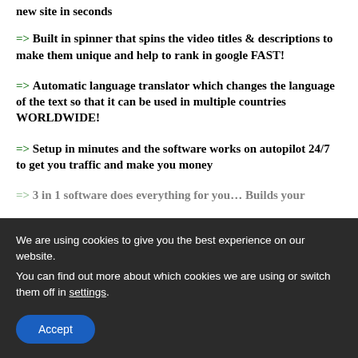new site in seconds
=> Built in spinner that spins the video titles & descriptions to make them unique and help to rank in google FAST!
=> Automatic language translator which changes the language of the text so that it can be used in multiple countries WORLDWIDE!
=> Setup in minutes and the software works on autopilot 24/7 to get you traffic and make you money
=> 3 in 1 software does everything for you… Builds your
We are using cookies to give you the best experience on our website.
You can find out more about which cookies we are using or switch them off in settings.